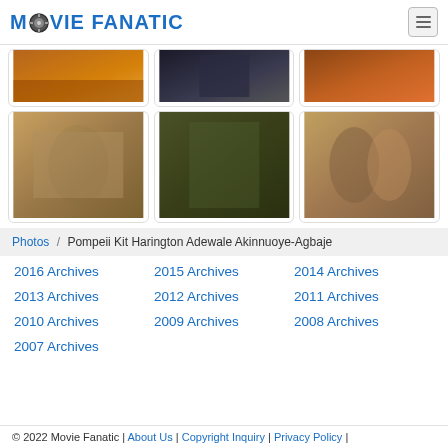MOVIE FANATIC
[Figure (photo): Three movie still thumbnails (row 1): fiery scene, dark armored figure, battle scene]
[Figure (photo): Three movie still thumbnails (row 2): Pompeii Kit Harington with cannon, two gladiators, two fighters]
Photos / Pompeii Kit Harington Adewale Akinnuoye-Agbaje
2016 Archives
2015 Archives
2014 Archives
2013 Archives
2012 Archives
2011 Archives
2010 Archives
2009 Archives
2008 Archives
2007 Archives
© 2022 Movie Fanatic | About Us | Copyright Inquiry | Privacy Policy |